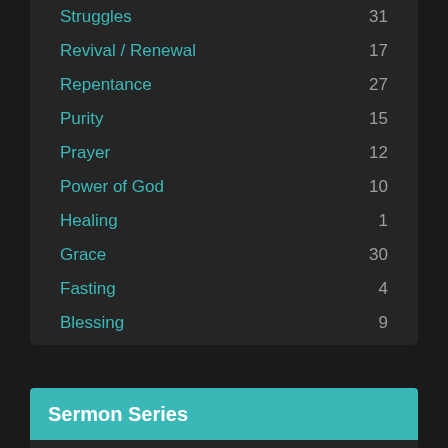Struggles  31
Revival / Renewal  17
Repentance  27
Purity  15
Prayer  12
Power of God  10
Healing  1
Grace  30
Fasting  4
Blessing  9
Sermon Series